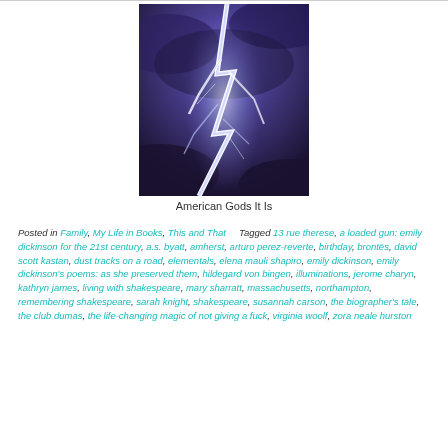[Figure (photo): A dramatic photograph of a lightning bolt striking against a dark stormy sky, with bright white and purple illumination.]
American Gods It Is
Posted in Family, My Life in Books, This and That    Tagged 13 rue therese, a loaded gun: emily dickinson for the 21st century, a.s. byatt, amherst, arturo perez-reverte, birthday, brontës, david scott kastan, dust tracks on a road, elementals, elena mauli shapiro, emily dickinson, emily dickinson's poems: as she preserved them, hildegard von bingen, illuminations, jerome charyn, kathryn james, living with shakespeare, mary sharratt, massachusetts, northampton, remembering shakespeare, sarah knight, shakespeare, susannah carson, the biographer's tale, the club dumas, the life-changing magic of not giving a fuck, virginia woolf, zora neale hurston